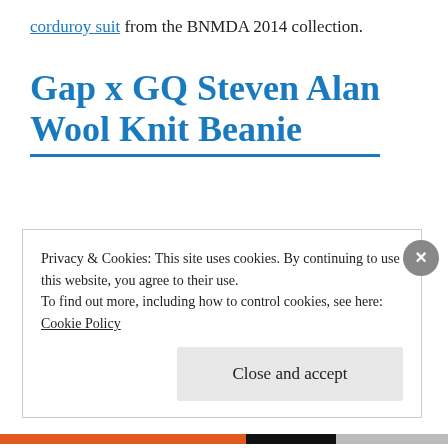corduroy suit from the BNMDA 2014 collection.
Gap x GQ Steven Alan Wool Knit Beanie
Privacy & Cookies: This site uses cookies. By continuing to use this website, you agree to their use.
To find out more, including how to control cookies, see here:
Cookie Policy
Close and accept